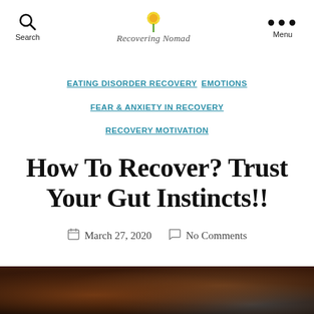Search | Recovering Nomad | Menu
EATING DISORDER RECOVERY  EMOTIONS  FEAR & ANXIETY IN RECOVERY  RECOVERY MOTIVATION
How To Recover? Trust Your Gut Instincts!!
March 27, 2020  No Comments
[Figure (photo): Blurred close-up photo, dark tones with brown and grey colors, bottom strip of the page]